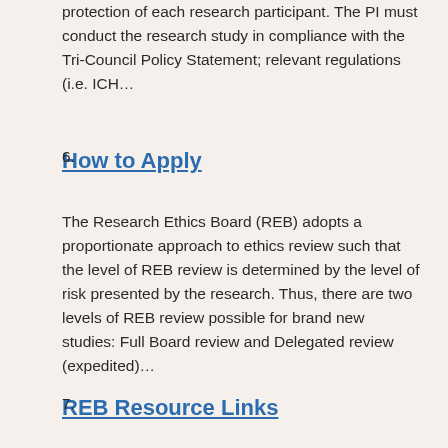protection of each research participant. The PI must conduct the research study in compliance with the Tri-Council Policy Statement; relevant regulations (i.e. ICH…
6. How to Apply
The Research Ethics Board (REB) adopts a proportionate approach to ethics review such that the level of REB review is determined by the level of risk presented by the research. Thus, there are two levels of REB review possible for brand new studies: Full Board review and Delegated review (expedited)…
7. REB Resource Links